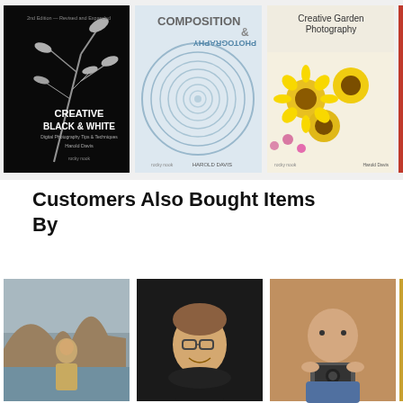[Figure (photo): Row of three photography book covers: Creative Black and White (black cover with plant silhouette), Composition and Photography (blue/white spiral cover), Creative Garden Photography (yellow sunflowers cover), and partial red book on far right]
Customers Also Bought Items By
[Figure (photo): Row of author portrait photos: woman standing in rocky gorge landscape, man smiling with glasses on black background, bald man resting chin on vintage camera, and partial fourth image on right]